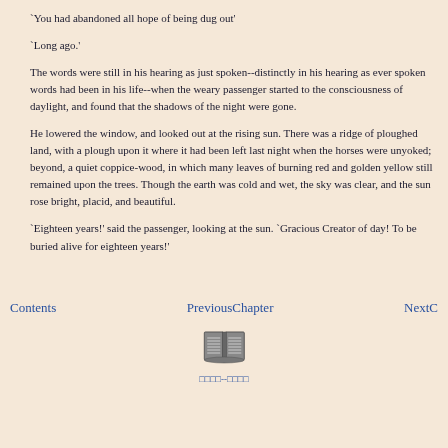`You had abandoned all hope of being dug out'
`Long ago.'
The words were still in his hearing as just spoken--distinctly in his hearing as ever spoken words had been in his life--when the weary passenger started to the consciousness of daylight, and found that the shadows of the night were gone.
He lowered the window, and looked out at the rising sun. There was a ridge of ploughed land, with a plough upon it where it had been left last night when the horses were unyoked; beyond, a quiet coppice-wood, in which many leaves of burning red and golden yellow still remained upon the trees. Though the earth was cold and wet, the sky was clear, and the sun rose bright, placid, and beautiful.
`Eighteen years!' said the passenger, looking at the sun. `Gracious Creator of day! To be buried alive for eighteen years!'
Contents   PreviousChapter   NextC
[Figure (illustration): Small book icon illustration]
□□□□--□□□□